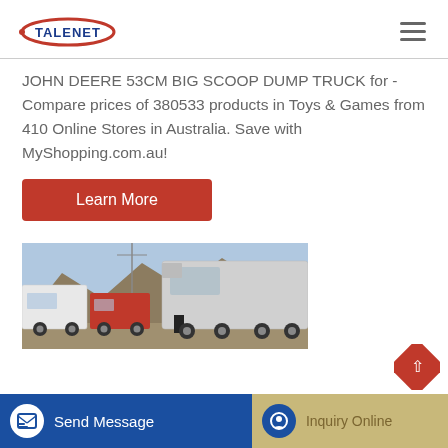[Figure (logo): Talenet logo with company name in blue and red oval graphic]
JOHN DEERE 53CM BIG SCOOP DUMP TRUCK for - Compare prices of 380533 products in Toys & Games from 410 Online Stores in Australia. Save with MyShopping.com.au!
[Figure (other): Learn More button - red/orange rectangular button with white text]
[Figure (photo): Photograph of multiple trucks parked in a lot with hills in the background]